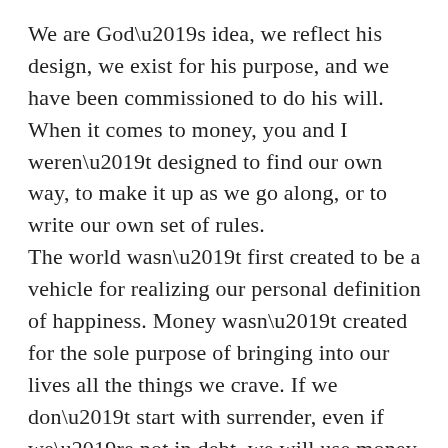We are God’s idea, we reflect his design, we exist for his purpose, and we have been commissioned to do his will. When it comes to money, you and I weren’t designed to find our own way, to make it up as we go along, or to write our own set of rules.
The world wasn’t first created to be a vehicle for realizing our personal definition of happiness. Money wasn’t created for the sole purpose of bringing into our lives all the things we crave. If we don’t start with surrender, even if we’re not in debt, we will use money in a way that God never intended.
In this way maybe many of us have more money problems than we realize. We think we’re okay